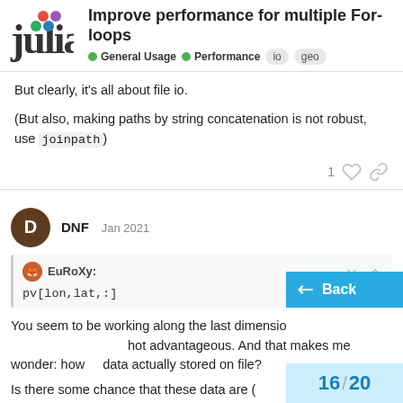Improve performance for multiple For-loops — General Usage · Performance · io · geo
But clearly, it's all about file io.
(But also, making paths by string concatenation is not robust, use joinpath)
DNF  Jan 2021
EuRoXy:
pv[lon,lat,:]
You seem to be working along the last dimension, which is not advantageous. And that makes me wonder: how are data actually stored on file?
Is there some chance that these data are...